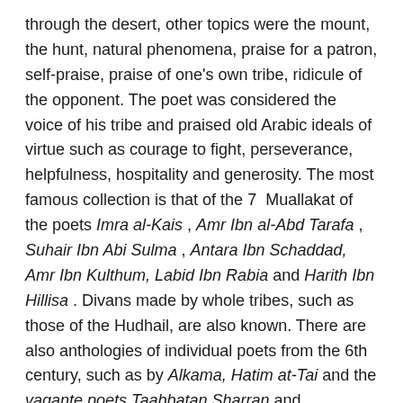through the desert, other topics were the mount, the hunt, natural phenomena, praise for a patron, self-praise, praise of one's own tribe, ridicule of the opponent. The poet was considered the voice of his tribe and praised old Arabic ideals of virtue such as courage to fight, perseverance, helpfulness, hospitality and generosity. The most famous collection is that of the 7  Muallakat of the poets Imra al-Kais , Amr Ibn al-Abd Tarafa , Suhair Ibn Abi Sulma , Antara Ibn Schaddad, Amr Ibn Kulthum, Labid Ibn Rabia and Harith Ibn Hillisa . Divans made by whole tribes, such as those of the Hudhail, are also known. There are also anthologies of individual poets from the 6th century, such as by Alkama, Hatim at-Tai and the vagante poets Taabbatan Sharran and Schanfara, as well as short work, combat and children's dance songs in a simple meter that was later also used for didactic poems.
Arabic literature